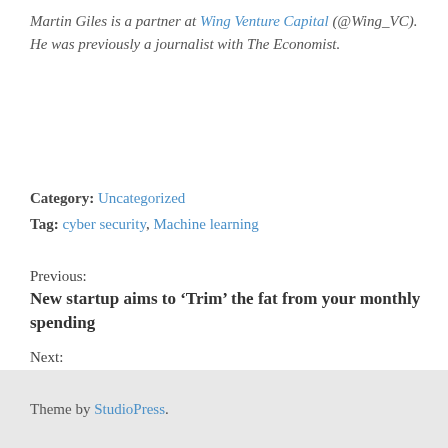Martin Giles is a partner at Wing Venture Capital (@Wing_VC). He was previously a journalist with The Economist.
Category: Uncategorized
Tag: cyber security, Machine learning
Previous:
New startup aims to 'Trim' the fat from your monthly spending
Next:
People-based marketing is key to humanizing the consumer experience
Theme by StudioPress.